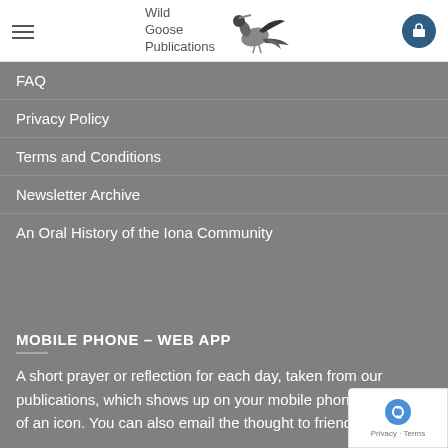Wild Goose Publications
FAQ
Privacy Policy
Terms and Conditions
Newsletter Archive
An Oral History of the Iona Community
MOBILE PHONE – WEB APP
A short prayer or reflection for each day, taken from our publications, which shows up on your mobile phone at the tap of an icon. You can also email the thought to friends.